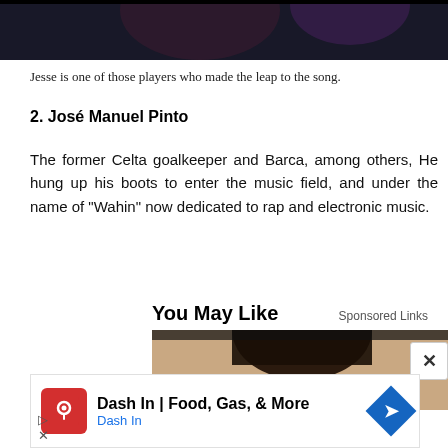[Figure (photo): Top portion of an image with dark background showing partial figures]
Jesse is one of those players who made the leap to the song.
2. José Manuel Pinto
The former Celta goalkeeper and Barca, among others, He hung up his boots to enter the music field, and under the name of "Wahin" now dedicated to rap and electronic music.
You May Like
[Figure (photo): Partial photo of a person with dark hair, advertisement image]
[Figure (other): Advertisement for Dash In | Food, Gas, & More with red icon and blue navigation arrow]